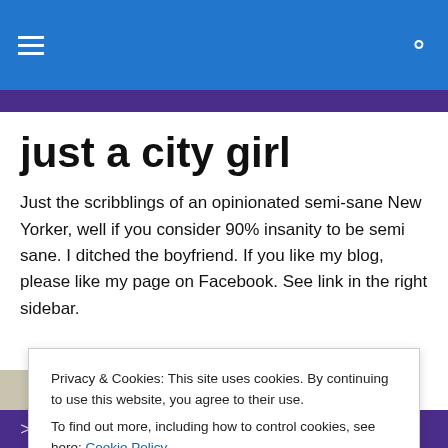just a city girl
Just the scribblings of an opinionated semi-sane New Yorker, well if you consider 90% insanity to be semi sane. I ditched the boyfriend. If you like my blog, please like my page on Facebook. See link in the right sidebar.
[Figure (photo): Small photo of a hummingbird tattoo on skin, teal/green colored bird]
Privacy & Cookies: This site uses cookies. By continuing to use this website, you agree to their use.
To find out more, including how to control cookies, see here: Cookie Policy
Close and accept
>Why do people drive stupid?